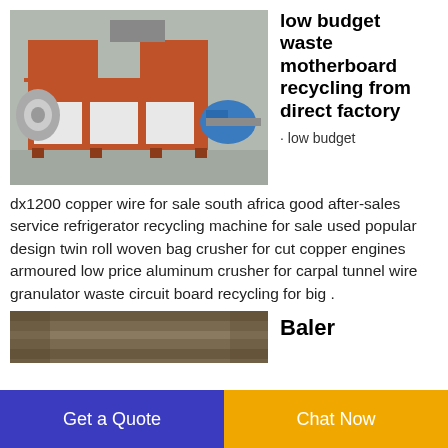[Figure (photo): Orange and white industrial waste recycling shredder machine in a factory setting]
low budget waste motherboard recycling from direct factory
· low budget dx1200 copper wire for sale south africa good after-sales service refrigerator recycling machine for sale used popular design twin roll woven bag crusher for cut copper engines armoured low price aluminum crusher for carpal tunnel wire granulator waste circuit board recycling for big .
[Figure (photo): Partially visible product image at bottom of page]
Baler
Get a Quote
Chat Now